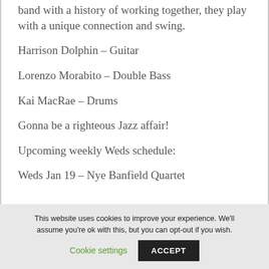band with a history of working together, they play with a unique connection and swing.
Harrison Dolphin – Guitar
Lorenzo Morabito – Double Bass
Kai MacRae – Drums
Gonna be a righteous Jazz affair!
Upcoming weekly Weds schedule:
Weds Jan 19 – Nye Banfield Quartet
This website uses cookies to improve your experience. We'll assume you're ok with this, but you can opt-out if you wish.